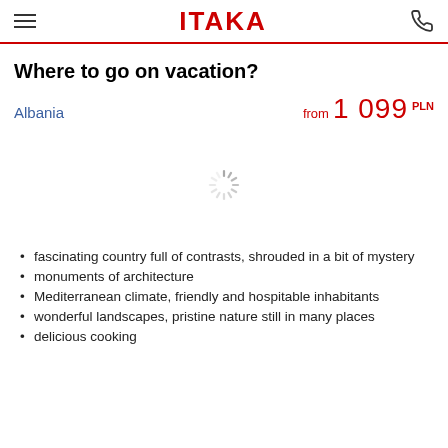ITAKA
Where to go on vacation?
Albania  from 1 099 PLN
[Figure (other): Loading spinner icon]
fascinating country full of contrasts, shrouded in a bit of mystery
monuments of architecture
Mediterranean climate, friendly and hospitable inhabitants
wonderful landscapes, pristine nature still in many places
delicious cooking